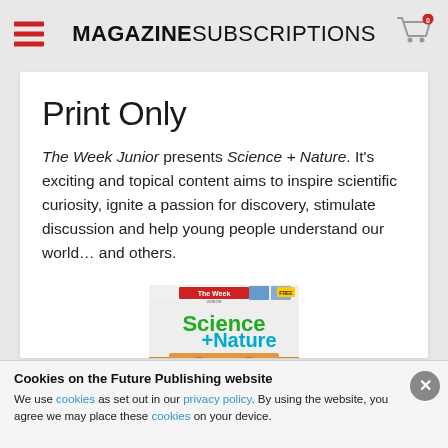MAGAZINE SUBSCRIPTIONS
Print Only
The Week Junior presents Science + Nature. It's exciting and topical content aims to inspire scientific curiosity, ignite a passion for discovery, stimulate discussion and help young people understand our world… and others.
[Figure (photo): Magazine cover of The Week Junior Science + Nature showing colorful Science+Nature title text and an animal image below with the word STAY visible]
Cookies on the Future Publishing website
We use cookies as set out in our privacy policy. By using the website, you agree we may place these cookies on your device.